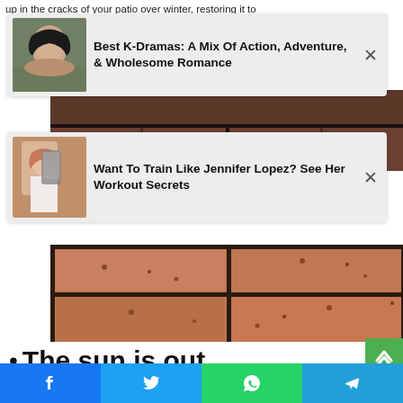up in the cracks of your patio over winter, restoring it to
[Figure (infographic): Ad card: thumbnail of Asian woman looking intense, with headline 'Best K-Dramas: A Mix Of Action, Adventure, & Wholesome Romance' and X close button]
[Figure (photo): Close-up photo of brick/stone patio tiles with dark grout lines, top portion]
[Figure (infographic): Ad card: thumbnail of Jennifer Lopez taking a selfie in gym attire, with headline 'Want To Train Like Jennifer Lopez? See Her Workout Secrets' and X close button]
[Figure (photo): Close-up photo of brick/stone patio tiles — terracotta/salmon colored with dark grout lines and small holes/pitting]
The sun is out
[Figure (infographic): Green scroll-to-top button with upward chevron arrow]
[Figure (infographic): Social share bar with Facebook, Twitter, WhatsApp, and Telegram buttons]